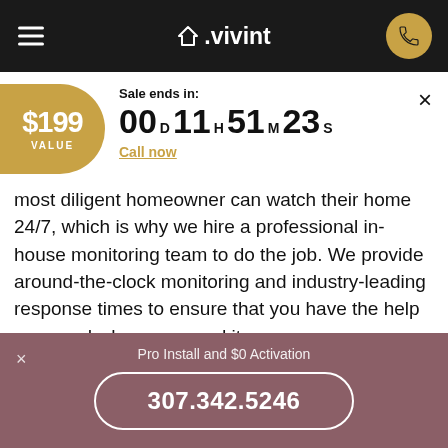vivint
Sale ends in: 00D 11H 51M 23S
Call now
most diligent homeowner can watch their home 24/7, which is why we hire a professional in-house monitoring team to do the job. We provide around-the-clock monitoring and industry-leading response times to ensure that you have the help you need when you need it.
Pro Install and $0 Activation
307.342.5246